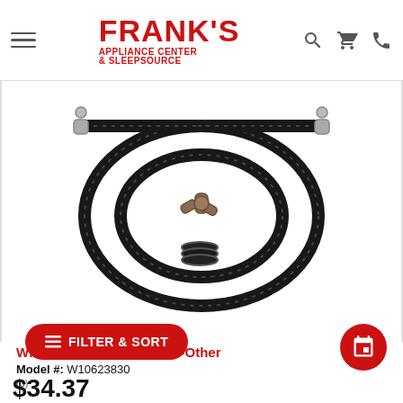Frank's Appliance Center & Sleepsource
[Figure (photo): Whirlpool laundry hose kit with two black braided hoses, a Y-connector fitting, and rubber washers, arranged in a circular coil on white background.]
Whirlpool Laundry Extras-Other
Model #: W10623830
(0)
$34.37